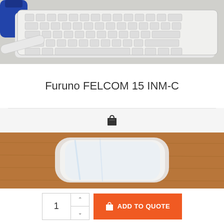[Figure (photo): Top-down view of a white keyboard and accessories on a light surface with a blue bottle in the corner]
Furuno FELCOM 15 INM-C
[Figure (photo): White satellite antenna or dome device wrapped in plastic, sitting on a brown wooden surface]
1  ADD TO QUOTE